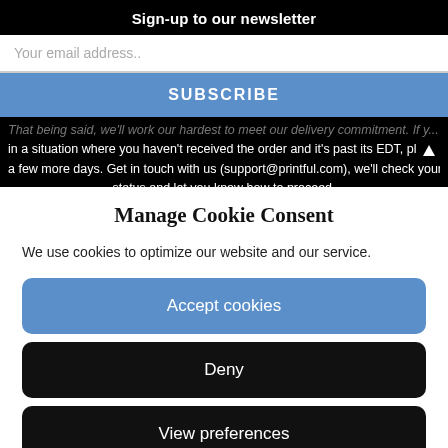Sign-up to our newsletter
Your email address..
SUBSCRIBE
in a situation where you haven't received the order and it's past its EDT, pl ow a few more days. Get in touch with us (support@printful.com), we'll check your order status and let you know how to proceed.
Manage Cookie Consent
We use cookies to optimize our website and our service.
Accept cookies
Deny
View preferences